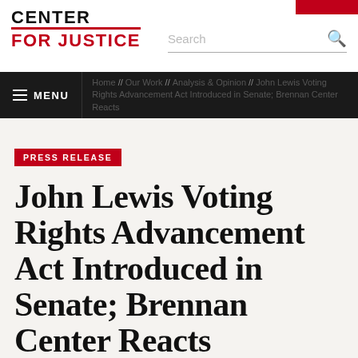CENTER FOR JUSTICE
Search
MENU | Home / Our Work / Analysis & Opinion / John Lewis Voting Rights Advancement Act Introduced in Senate; Brennan Center Reacts
PRESS RELEASE
John Lewis Voting Rights Advancement Act Introduced in Senate; Brennan Center Reacts